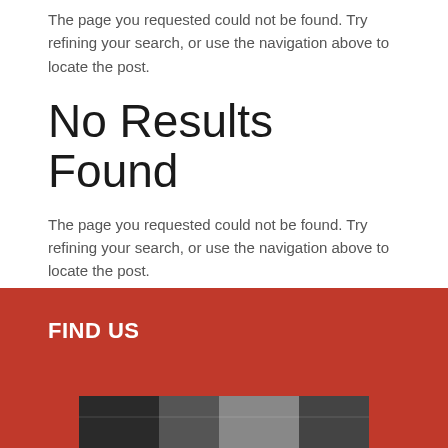The page you requested could not be found. Try refining your search, or use the navigation above to locate the post.
No Results Found
The page you requested could not be found. Try refining your search, or use the navigation above to locate the post.
FIND US
[Figure (photo): A photo strip image appearing at the bottom of the red section]